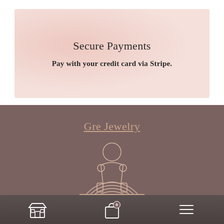Secure Payments
Pay with your credit card via Stripe.
Gre Jewelry
[Figure (logo): Gre Jewelry logo — a stylized figure icon above a semicircular fan/rainbow motif, rendered in thin pink-beige lines on a muted brown background]
[Figure (other): Navigation bar with store icon, shopping bag icon with 0 badge, and hamburger menu icon]